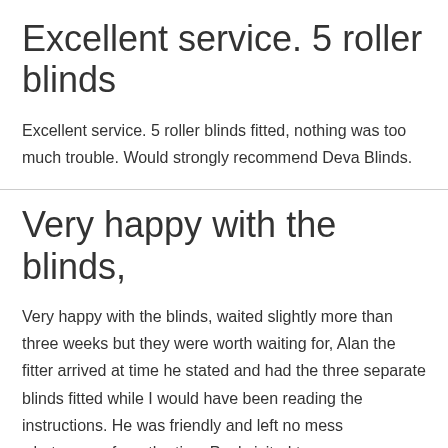Excellent service. 5 roller blinds
Excellent service. 5 roller blinds fitted, nothing was too much trouble. Would strongly recommend Deva Blinds.
Very happy with the blinds,
Very happy with the blinds, waited slightly more than three weeks but they were worth waiting for, Alan the fitter arrived at time he stated and had the three separate blinds fitted while I would have been reading the instructions. He was friendly and left no mess whatsoever, from the time Paul visited to measure …
Read More »